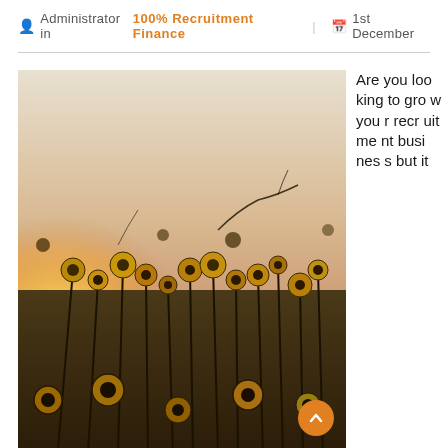Administrator in 100% Recruitment Finance  1st December
[Figure (photo): A field of yellow sunflowers photographed at sunset/golden hour, with warm orange and golden light glowing from behind the flowers against a pale sky. The silhouettes of flower stems and leaves are visible in the foreground.]
Are you looking to grow your recruitment business but it